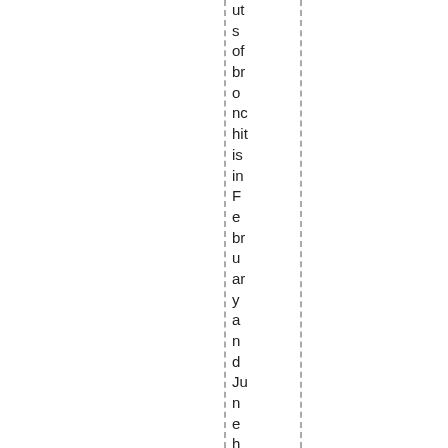uts s of br o nc hit is in F e br u ar y a n d Ju n e h av e pr o b a bl y